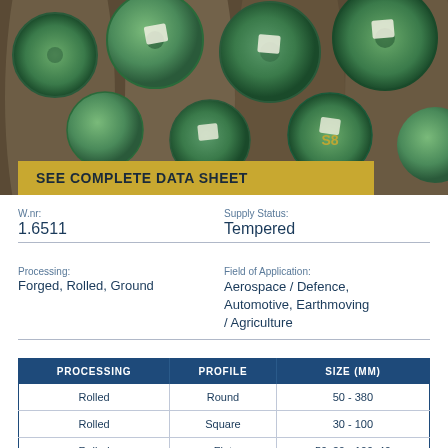[Figure (photo): Stack of green-painted steel round bars/rods viewed from the end, showing circular cross-sections]
SEE COMPLETE DATA SHEET
W.nr:
1.6511
Supply Status:
Tempered
Processing:
Forged, Rolled, Ground
Field of Application:
Aerospace / Defence, Automotive, Earthmoving / Agriculture
| PROCESSING | PROFILE | SIZE (MM) |
| --- | --- | --- |
| Rolled | Round | 50 - 380 |
| Rolled | Square | 30 - 100 |
| Rolled | Flat | 50x20 - 100x40 |